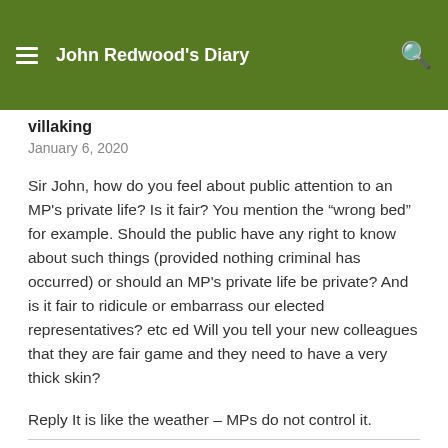John Redwood's Diary
villaking
January 6, 2020
Sir John, how do you feel about public attention to an MP's private life? Is it fair? You mention the “wrong bed” for example. Should the public have any right to know about such things (provided nothing criminal has occurred) or should an MP's private life be private? And is it fair to ridicule or embarrass our elected representatives? etc ed Will you tell your new colleagues that they are fair game and they need to have a very thick skin?
Reply It is like the weather – MPs do not control it.